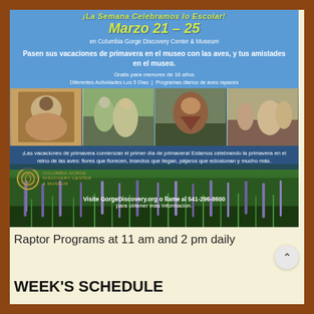[Figure (infographic): Promotional flyer in Spanish for spring break at Columbia Gorge Discovery Center & Museum, March 21-25. Shows date 'Marzo 21-25', tagline about spring vacation with birds at museum, free for children under 16, different activities 5 days, daily raptor programs. Includes a photo strip of people with birds of prey, and a description of spring break celebration. Shows Columbia Gorge Discovery Center logo and website GorgeDiscovery.org, phone 541-296-8600. Background has purple flowers at bottom on green field.]
Raptor Programs at 11 am and 2 pm daily
WEEK'S SCHEDULE